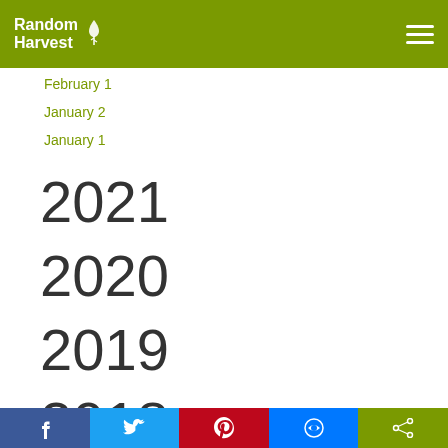Random Harvest
February 1
January 2
January 1
2021
2020
2019
2018 (partial)